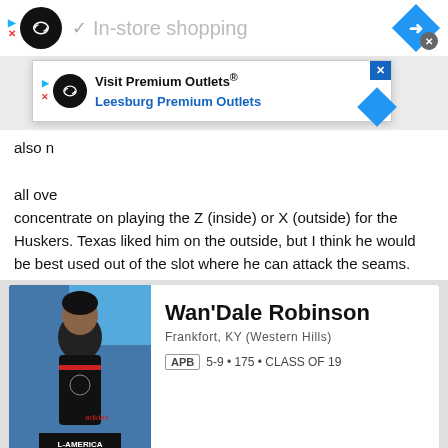[Figure (screenshot): Top ad bar: black infinity-logo circle, checkmark, 'In-store shopping' text in gray, blue diamond navigation icon]
also r... him all ove... concentrate on playing the Z (inside) or X (outside) for the Huskers. Texas liked him on the outside, but I think he would be best used out of the slot where he can attack the seams.
[Figure (screenshot): Overlay popup ad: Visit Premium Outlets® / Leesburg Premium Outlets]
[Figure (photo): Athlete profile card photo of Wan'Dale Robinson in black All-American jersey]
Wan'Dale Robinson
Frankfort, KY (Western Hills)
APB 5-9 • 175 • CLASS OF 19
[Figure (screenshot): Bottom bar with blurred 247Sports composite rating and stars]
[Figure (screenshot): Bottom ad bar: black infinity-logo circle, checkmark, 'In-store shopping' text in gray, blue diamond navigation icon]